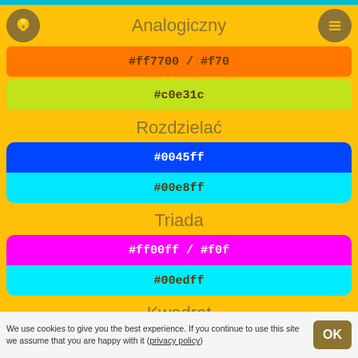Analogiczny
#ff7700 / #f70
#c0e31c
Rozdzielać
#0045ff
#00e8ff
Triada
#ff00ff / #f0f
#00edff
Kwadrat
#00ffc1
We use cookies to give you the best experience. If you continue to use this site we assume that you are happy with it (privacy policy)